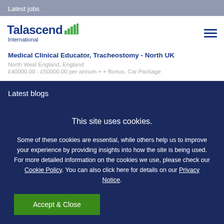Latest jobs
[Figure (logo): Talascend International logo with green bar chart icon and blue text]
Medical Clinical Educator, Tracheostomy - North UK
North West England, England
£40000.00 - £50000.00 per annum + + Bonus, Car Package
Latest blogs
This site uses cookies.
Some of these cookies are essential, while others help us to improve your experience by providing insights into how the site is being used. For more detailed information on the cookies we use, please check our Cookie Policy. You can also click here for details on our Privacy Notice.
Accept & Close